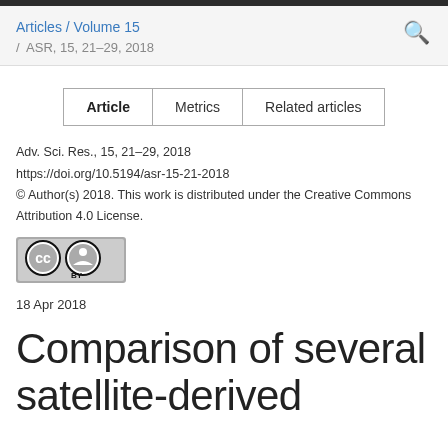Articles / Volume 15 / ASR, 15, 21–29, 2018
| Article | Metrics | Related articles |
| --- | --- | --- |
Adv. Sci. Res., 15, 21–29, 2018
https://doi.org/10.5194/asr-15-21-2018
© Author(s) 2018. This work is distributed under the Creative Commons Attribution 4.0 License.
[Figure (logo): Creative Commons Attribution (CC BY) license badge]
18 Apr 2018
Comparison of several satellite-derived